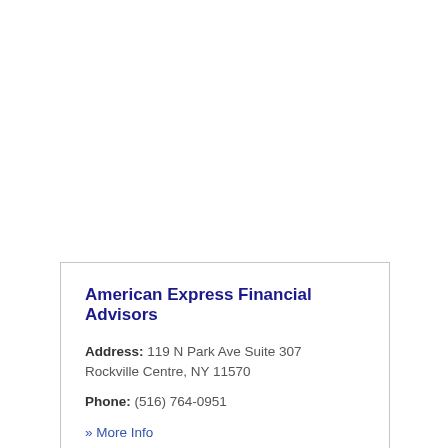American Express Financial Advisors
Address: 119 N Park Ave Suite 307 Rockville Centre, NY 11570
Phone: (516) 764-0951
» More Info